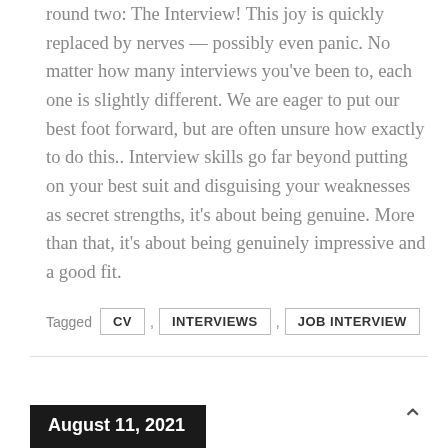round two: The Interview! This joy is quickly replaced by nerves — possibly even panic. No matter how many interviews you've been to, each one is slightly different. We are eager to put our best foot forward, but are often unsure how exactly to do this.. Interview skills go far beyond putting on your best suit and disguising your weaknesses as secret strengths, it's about being genuine. More than that, it's about being genuinely impressive and a good fit.
Tagged CV , INTERVIEWS , JOB INTERVIEW
August 11, 2021